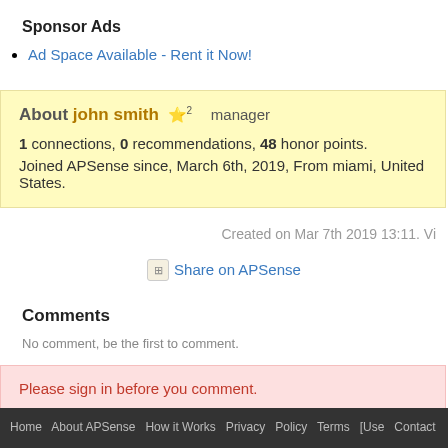Sponsor Ads
Ad Space Available - Rent it Now!
About john smith ⭐2 manager
1 connections, 0 recommendations, 48 honor points. Joined APSense since, March 6th, 2019, From miami, United States.
Created on Mar 7th 2019 13:11. Vi…
Share on APSense
Comments
No comment, be the first to comment.
Please sign in before you comment.
Home  About APSense  How it Works  Privacy  Policy  Terms  [Use  Contact